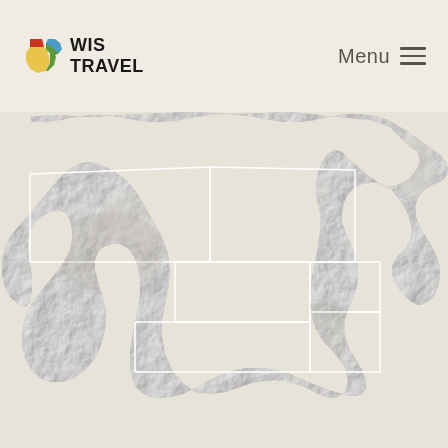[Figure (logo): WIS TRAVEL logo with colorful state outline icon]
Menu ≡
[Figure (map): Shaded relief map of Wisconsin showing regional boundaries as white outlines, terrain rendered in grayscale.]